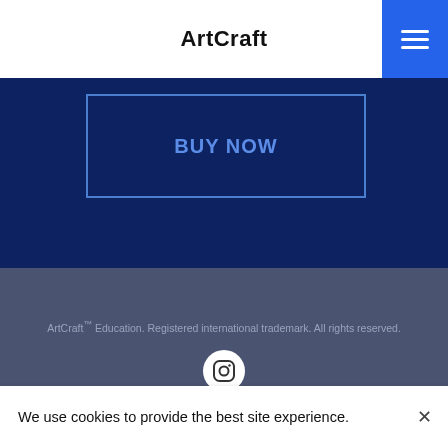ArtCraft
BUY NOW
ArtCraft™ Education. Registered international trademark. All rights reserved.
[Figure (logo): Instagram icon button — white circle with camera icon]
We use cookies to provide the best site experience.